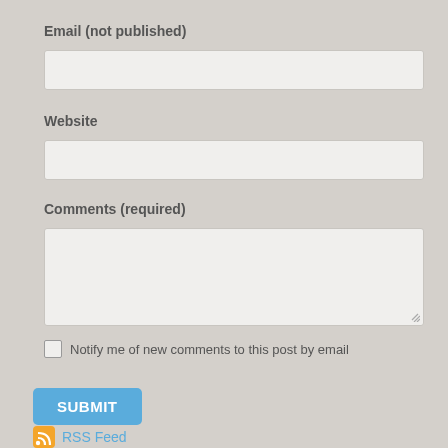Email (not published)
[Figure (other): Text input field for email]
Website
[Figure (other): Text input field for website]
Comments (required)
[Figure (other): Textarea input for comments]
Notify me of new comments to this post by email
[Figure (other): Submit button]
RSS Feed